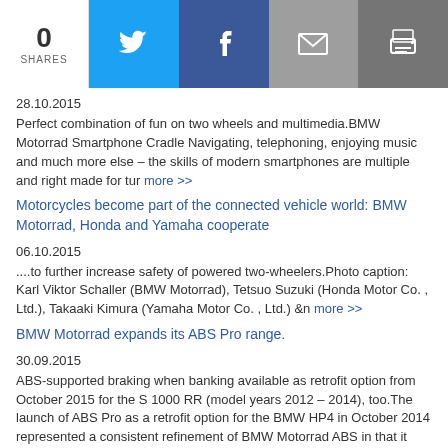[Figure (infographic): Social share bar with 0 shares count, Twitter (blue), Facebook (dark blue), Email (grey), and Print (dark grey) buttons]
28.10.2015
Perfect combination of fun on two wheels and multimedia.BMW Motorrad Smartphone Cradle Navigating, telephoning, enjoying music and much more else – the skills of modern smartphones are multiple and right made for tur more >>
Motorcycles become part of the connected vehicle world: BMW Motorrad, Honda and Yamaha cooperate
06.10.2015
....to further increase safety of powered two-wheelers.Photo caption: Karl Viktor Schaller (BMW Motorrad), Tetsuo Suzuki (Honda Motor Co. , Ltd.), Takaaki Kimura (Yamaha Motor Co. , Ltd.) &n more >>
BMW Motorrad expands its ABS Pro range.
30.09.2015
ABS-supported braking when banking available as retrofit option from October 2015 for the S 1000 RR (model years 2012 – 2014), too.The launch of ABS Pro as a retrofit option for the BMW HP4 in October 2014 represented a consistent refinement of BMW Motorrad ABS in that it also enabled ABS-supported braking in banking position on a supersports bike more >>
BMW Motorrad presents the Navigator Street
10.09.2015
Trusty GPS guide for touring and more.With the new Navigator